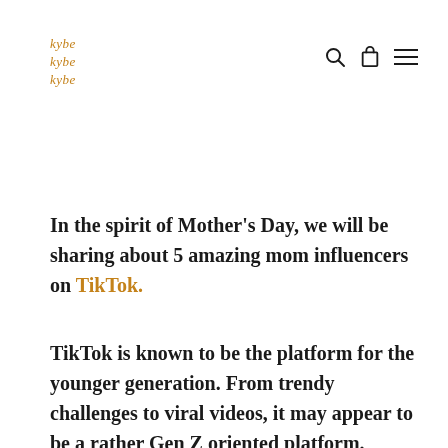Kybe Kybe Kybe
In the spirit of Mother's Day, we will be sharing about 5 amazing mom influencers on TikTok.
TikTok is known to be the platform for the younger generation. From trendy challenges to viral videos, it may appear to be a rather Gen Z oriented platform. However, there are many mom influencers on TikTok as well. These